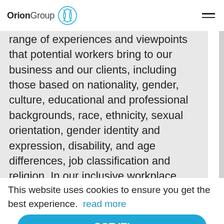OrionGroup
range of experiences and viewpoints that potential workers bring to our business and our clients, including those based on nationality, gender, culture, educational and professional backgrounds, race, ethnicity, sexual orientation, gender identity and expression, disability, and age differences, job classification and religion. In our inclusive workplace, regardless of your employment status as staff or contract, everyone is assured the right of equitable, fair
This website uses cookies to ensure you get the best experience. read more
GOT IT!